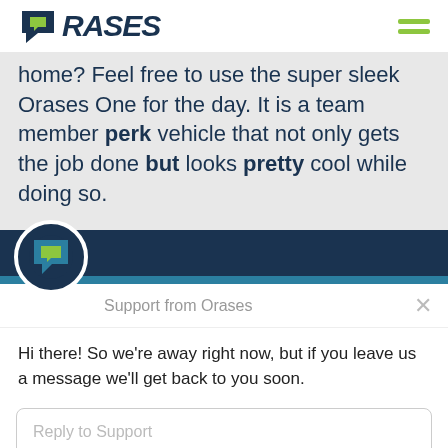ORASES
home? Feel free to use the super sleek Orases One for the day. It is a team member perk vehicle that not only gets the job done but looks pretty cool while doing so.
Support from Orases
Hi there! So we're away right now, but if you leave us a message we'll get back to you soon.
Reply to Support
Chat ⚡ by Drift